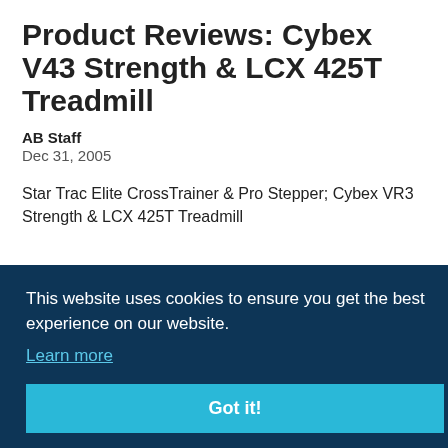Product Reviews: Cybex V43 Strength & LCX 425T Treadmill
AB Staff
Dec 31, 2005
Star Trac Elite CrossTrainer & Pro Stepper; Cybex VR3 Strength & LCX 425T Treadmill
This website uses cookies to ensure you get the best experience on our website.
Learn more
Got it!
The most outstanding feature in the Elite is